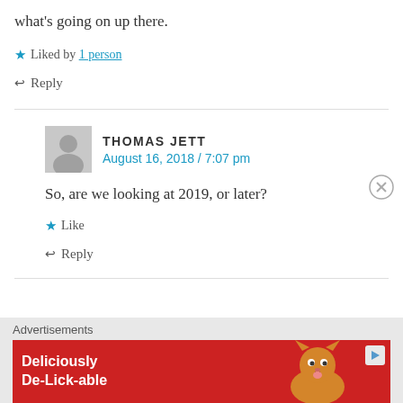what's going on up there.
★ Liked by 1 person
↩ Reply
THOMAS JETT
August 16, 2018 / 7:07 pm
So, are we looking at 2019, or later?
★ Like
↩ Reply
Advertisements
[Figure (illustration): Advertisement banner with red background showing a cat and text 'Deliciously De-Lick-able']